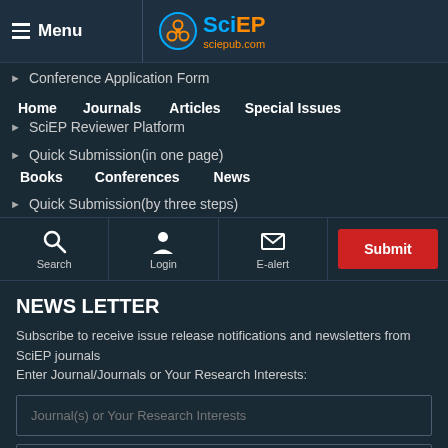Menu | SciEP sciepub.com
Conference Application Form
Home  Journals  Articles  Special Issues
SciEP Reviewer Platform
Quick Submission(in one page)
Books  Conferences  News
Quick Submission(by three steps)
Search  Login  E-alert  Submit
NEWS LETTER
Subscribe to receive issue release notifications and newsletters from SciEP journals
Enter Journal/Journals or Your Research Interests:
Journal(s) or Your Research Interests
Your Email